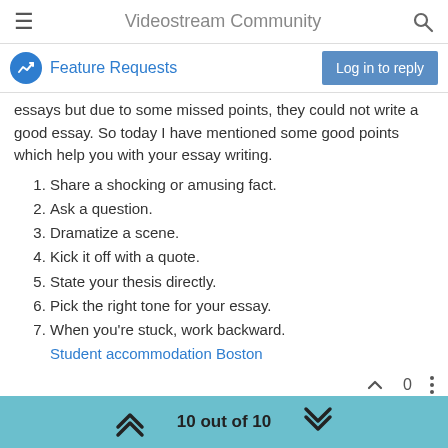Videostream Community
Feature Requests
essays but due to some missed points, they could not write a good essay. So today I have mentioned some good points which help you with your essay writing.
Share a shocking or amusing fact.
Ask a question.
Dramatize a scene.
Kick it off with a quote.
State your thesis directly.
Pick the right tone for your essay.
When you're stuck, work backward.
Student accommodation Boston
10 out of 10